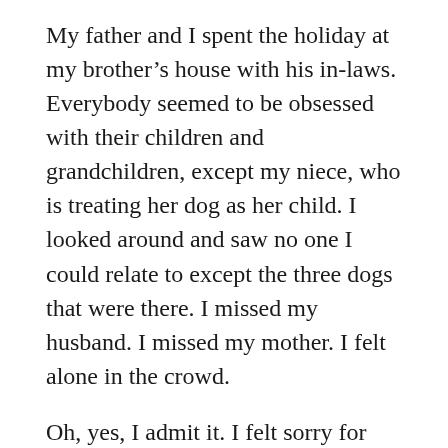My father and I spent the holiday at my brother's house with his in-laws. Everybody seemed to be obsessed with their children and grandchildren, except my niece, who is treating her dog as her child. I looked around and saw no one I could relate to except the three dogs that were there. I missed my husband. I missed my mother. I felt alone in the crowd.
Oh, yes, I admit it. I felt sorry for myself, even though I knew I was not the only widow in the room. My sister-in-law's cousin lost her husband right after Christmas last year. The last family event he attended was Thanksgiving at my brother's house. She had a lot more right to feel sorry for herself than I did. But all day, I watched her holding one of her four young